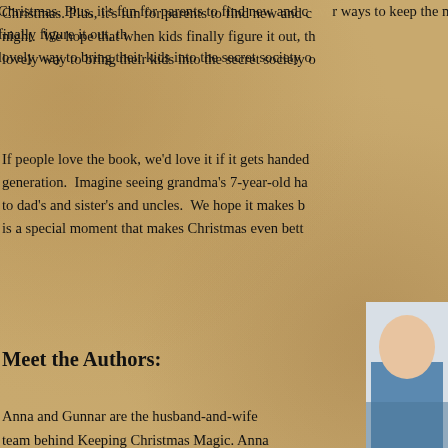Christmas. Plus, it's fun for parents to find new and clever ways to keep the magic alive each night. We hope that when kids finally figure it out, that parents will see this book as a lovely way to bring their kids into the secret society of Christmas.
If people love the book, we'd love it if it gets handed down from generation to generation. Imagine seeing grandma's 7-year-old handwriting in the margins, passed down to dad's and sister's and uncles. We hope it makes for a family tradition, and that it is a special moment that makes Christmas even better.
Meet the Authors:
Anna and Gunnar are the husband-and-wife team behind Keeping Christmas Magic. Anna immigrated from Russia at age 12 and began her American journey in Swampscott, MA, attending Boston University before moving out to California to pursue her entrepreneurial
[Figure (photo): Partial photo of two people, cropped at right edge of page]